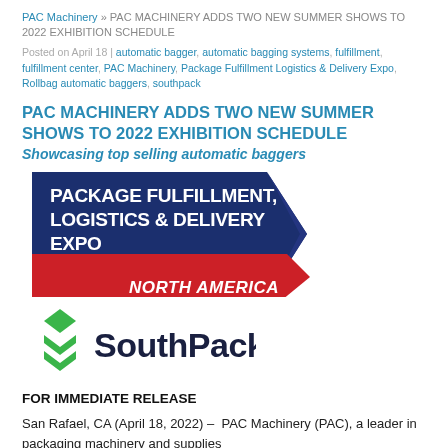PAC Machinery » PAC MACHINERY ADDS TWO NEW SUMMER SHOWS TO 2022 EXHIBITION SCHEDULE
Posted on April 18 | automatic bagger, automatic bagging systems, fulfillment, fulfillment center, PAC Machinery, Package Fulfillment Logistics & Delivery Expo, Rollbag automatic baggers, southpack
PAC MACHINERY ADDS TWO NEW SUMMER SHOWS TO 2022 EXHIBITION SCHEDULE
Showcasing top selling automatic baggers
[Figure (logo): Package Fulfillment, Logistics & Delivery Expo North America logo — dark blue arrow shape with white bold text and red ribbon with white italic text]
[Figure (logo): SouthPack logo — green layered diamond chevron icon with dark navy SouthPack wordmark]
FOR IMMEDIATE RELEASE
San Rafael, CA (April 18, 2022) – PAC Machinery (PAC), a leader in packaging machinery and supplies